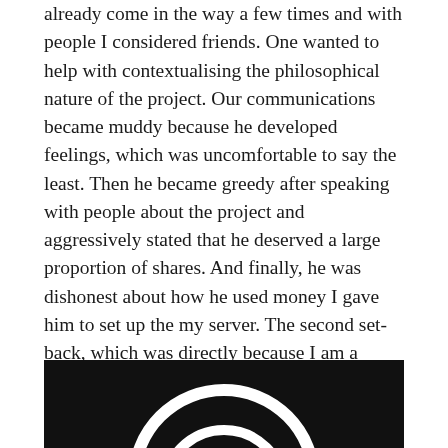already come in the way a few times and with people I considered friends. One wanted to help with contextualising the philosophical nature of the project. Our communications became muddy because he developed feelings, which was uncomfortable to say the least. Then he became greedy after speaking with people about the project and aggressively stated that he deserved a large proportion of shares. And finally, he was dishonest about how he used money I gave him to set up the my server. The second set-back, which was directly because I am a woman, was with a friend that I pitched to as a potential investor, since he's squandering lots of money to build a spaceship so he can go to the moon in a few years. At first he was very interested, up until the point that he realised I was not going to sleep with him.
[Figure (illustration): Black background with a white circular/spiral graphic element visible at the bottom of the page — appears to be a logo or decorative arc symbol.]